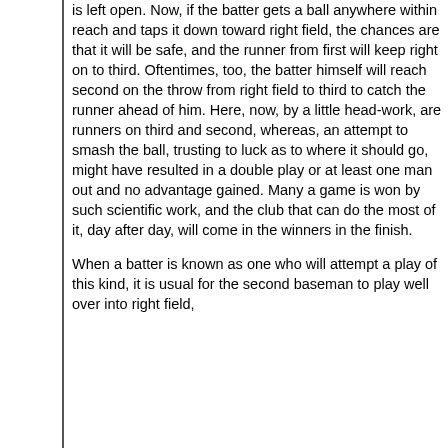is left open. Now, if the batter gets a ball anywhere within reach and taps it down toward right field, the chances are that it will be safe, and the runner from first will keep right on to third. Oftentimes, too, the batter himself will reach second on the throw from right field to third to catch the runner ahead of him. Here, now, by a little head-work, are runners on third and second, whereas, an attempt to smash the ball, trusting to luck as to where it should go, might have resulted in a double play or at least one man out and no advantage gained. Many a game is won by such scientific work, and the club that can do the most of it, day after day, will come in the winners in the finish.
When a batter is known as one who will attempt a play of this kind, it is usual for the second baseman to play well over into right field, allowing the covered to be covered by the